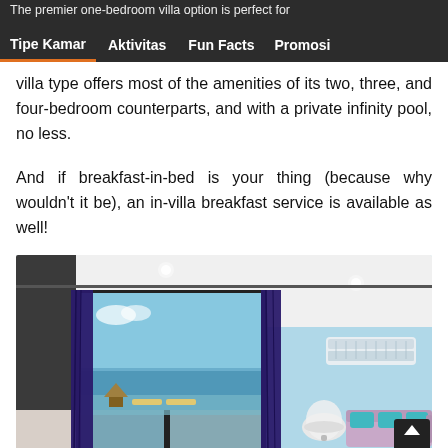The premier one-bedroom villa option is perfect for
Tipe Kamar | Aktivitas | Fun Facts | Promosi
villa type offers most of the amenities of its two, three, and four-bedroom counterparts, and with a private infinity pool, no less.
And if breakfast-in-bed is your thing (because why wouldn't it be), an in-villa breakfast service is available as well!
[Figure (photo): Interior of a modern villa room with large glass sliding doors, dark navy curtains, light blue walls, a wall-mounted air conditioner, a white round chair, a lavender sofa with teal cushions, and a view of the ocean and pool terrace outside.]